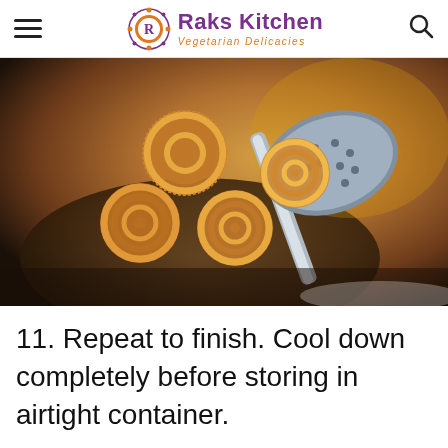Raks Kitchen – Vegetarian Delicacies
[Figure (photo): Chakli (Indian spiral fried snack) piled on a slotted spoon over a dark bowl, golden-brown and crispy, close-up food photography.]
11. Repeat to finish. Cool down completely before storing in airtight container.